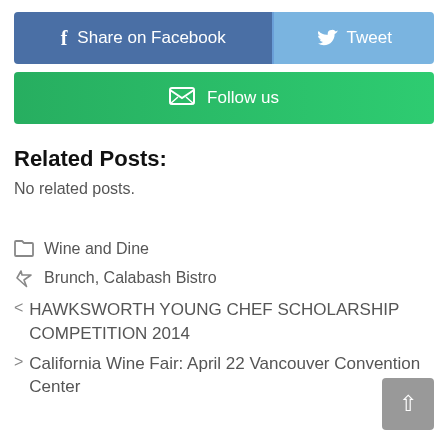[Figure (infographic): Social share buttons: Share on Facebook (blue), Tweet (light blue), and Follow us (green with envelope icon)]
Related Posts:
No related posts.
Wine and Dine
Brunch, Calabash Bistro
< HAWKSWORTH YOUNG CHEF SCHOLARSHIP COMPETITION 2014
> California Wine Fair: April 22 Vancouver Convention Center